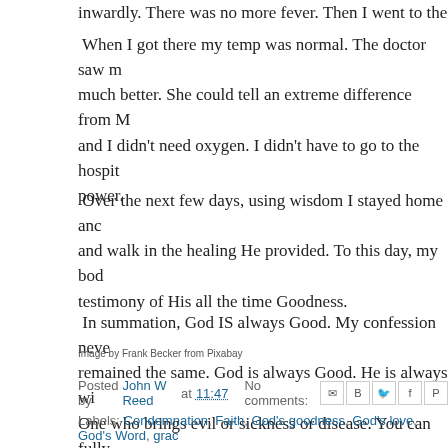inwardly. There was no more fever. Then I went to the do
When I got there my temp was normal. The doctor saw m much better. She could tell an extreme difference from M and I didn't need oxygen. I didn't have to go to the hospit power.
Over the next few days, using wisdom I stayed home anc and walk in the healing He provided. To this day, my bod testimony of His all the time Goodness.
In summation, God IS always Good. My confession neve remained the same. God is always Good. He is always wi One who brings evil or sickness or disease. You can fully
Image by Frank Becker from Pixabay
Posted by John W Reed at 11:47   No comments:
Labels: Condemnation, Faith, God's goodness, God's love, God's Word, grac